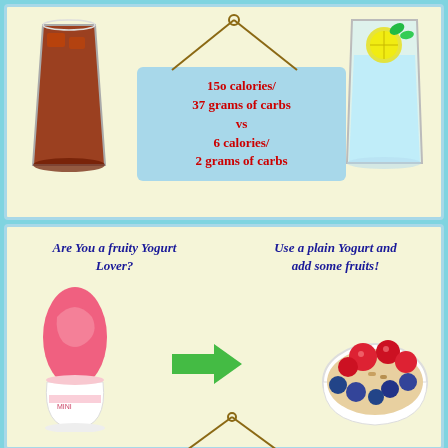[Figure (infographic): Top section: cola drink on left, water with lemon on right, blue sign in center showing calorie comparison '150 calories/37 grams of carbs vs 6 calories/2 grams of carbs' with hanger above]
150 calories/
37 grams of carbs
vs
6 calories/
2 grams of carbs
[Figure (infographic): Bottom section: text 'Are You a fruity Yogurt Lover?' on left and 'Use a plain Yogurt and add some fruits!' on right, pink frozen yogurt cup on left, green arrow pointing right, fruit yogurt bowl on right, hanger at bottom]
Are You a fruity Yogurt Lover?
Use a plain Yogurt and add some fruits!